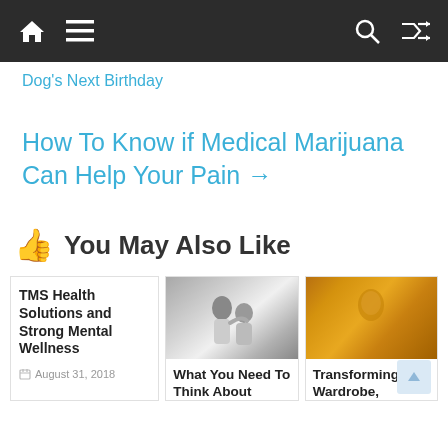[Navigation bar with home, menu, search, and shuffle icons]
Dog's Next Birthday
How To Know if Medical Marijuana Can Help Your Pain →
👍 You May Also Like
TMS Health Solutions and Strong Mental Wellness
August 31, 2018
[Figure (photo): Black and white photo of two people from behind, one with arm around the other]
What You Need To Think About
[Figure (photo): Photo of a woman in front of golden sequin background]
Transforming the Wardrobe,